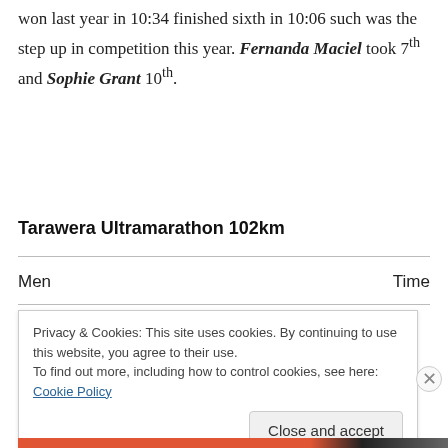won last year in 10:34 finished sixth in 10:06 such was the step up in competition this year. Fernanda Maciel took 7th and Sophie Grant 10th.
Tarawera Ultramarathon 102km
| Men | Time |
| --- | --- |
Privacy & Cookies: This site uses cookies. By continuing to use this website, you agree to their use. To find out more, including how to control cookies, see here: Cookie Policy